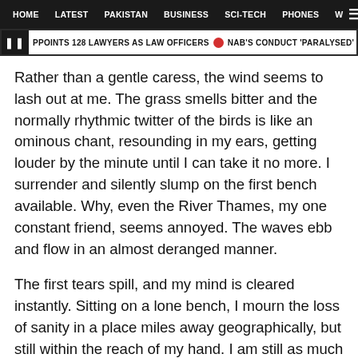HOME  LATEST  PAKISTAN  BUSINESS  SCI-TECH  PHONES  W ☰
❚❚ PPOINTS 128 LAWYERS AS LAW OFFICERS  ● NAB'S CONDUCT 'PARALYSED' GOVT M
Rather than a gentle caress, the wind seems to lash out at me. The grass smells bitter and the normally rhythmic twitter of the birds is like an ominous chant, resounding in my ears, getting louder by the minute until I can take it no more. I surrender and silently slump on the first bench available. Why, even the River Thames, my one constant friend, seems annoyed. The waves ebb and flow in an almost deranged manner.
The first tears spill, and my mind is cleared instantly. Sitting on a lone bench, I mourn the loss of sanity in a place miles away geographically, but still within the reach of my hand. I am still as much a part of it, as it is of me.
If I close my eyes just now I can hear the faint tinkling of a